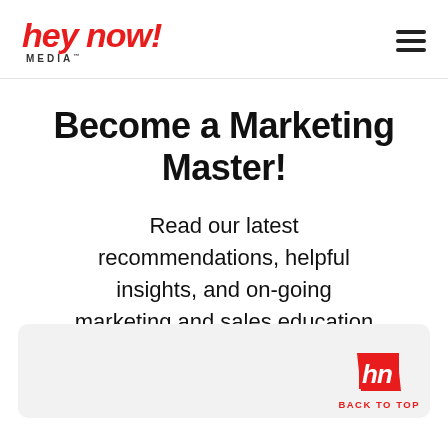hey now! MEDIA
Become a Marketing Master!
Read our latest recommendations, helpful insights, and on-going marketing and sales education geared towards growth.
[Figure (logo): HN logo badge with BACK TO TOP text in red]